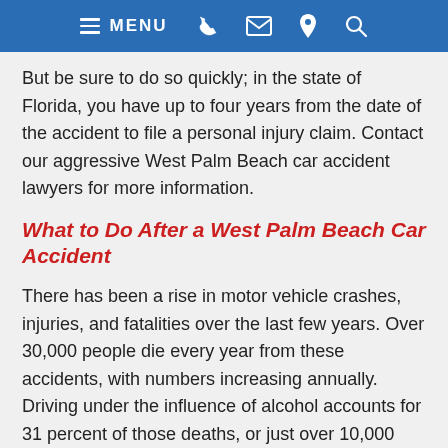MENU [phone] [email] [location] [search]
But be sure to do so quickly; in the state of Florida, you have up to four years from the date of the accident to file a personal injury claim. Contact our aggressive West Palm Beach car accident lawyers for more information.
What to Do After a West Palm Beach Car Accident
There has been a rise in motor vehicle crashes, injuries, and fatalities over the last few years. Over 30,000 people die every year from these accidents, with numbers increasing annually. Driving under the influence of alcohol accounts for 31 percent of those deaths, or just over 10,000 deaths per year. Technology is adding to the death toll by creating distracted drivers; one in four deaths is caused by texting, talking on the cell phone, or eating. An